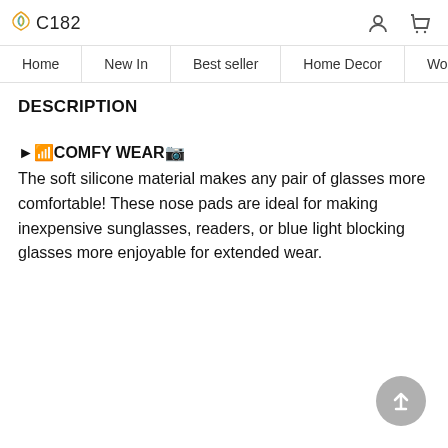C182 [logo with icons for user and cart]
Home | New In | Best seller | Home Decor | Wo...
DESCRIPTION
►🔶COMFY WEAR🔷 The soft silicone material makes any pair of glasses more comfortable! These nose pads are ideal for making inexpensive sunglasses, readers, or blue light blocking glasses more enjoyable for extended wear.